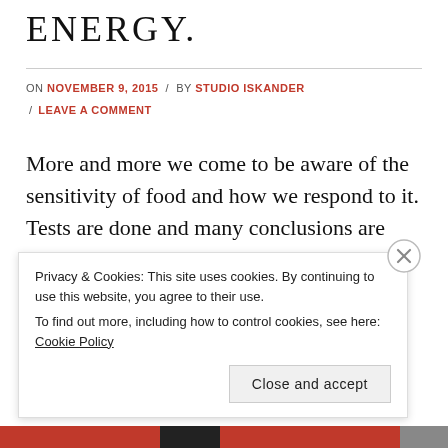Energy.
ON NOVEMBER 9, 2015 / BY STUDIO ISKANDER / LEAVE A COMMENT
More and more we come to be aware of the sensitivity of food and how we respond to it. Tests are done and many conclusions are made.
But an important aspect seem to be ignored or left
Privacy & Cookies: This site uses cookies. By continuing to use this website, you agree to their use. To find out more, including how to control cookies, see here: Cookie Policy
Close and accept